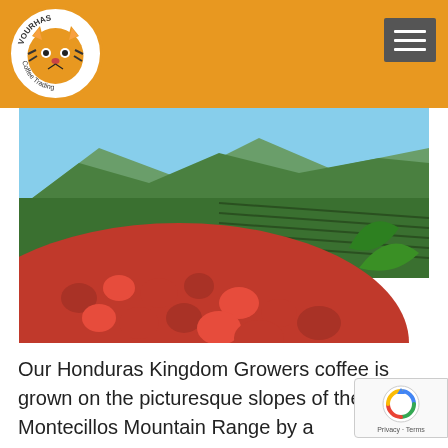[Figure (logo): Vourhas Coffee Trading logo — tiger face inside circular badge with text]
[Figure (photo): Coffee cherries (red) piled on a slope with terraced coffee plantations and mountains in the background under blue sky]
Our Honduras Kingdom Growers coffee is grown on the picturesque slopes of the Montecillos Mountain Range by a cooperative of small, Honduran coffee growers dedicated to the production of high quality, sustainable coffee as a whole community. For more on the Honduras...